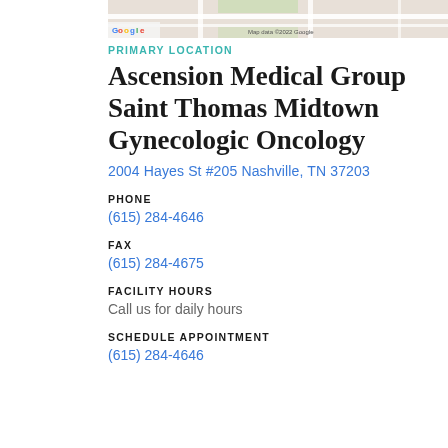[Figure (map): Partial Google Map screenshot showing university area street map with Google logo and map data copyright notice]
PRIMARY LOCATION
Ascension Medical Group Saint Thomas Midtown Gynecologic Oncology
2004 Hayes St #205 Nashville, TN  37203
PHONE
(615) 284-4646
FAX
(615) 284-4675
FACILITY HOURS
Call us for daily hours
SCHEDULE APPOINTMENT
(615) 284-4646